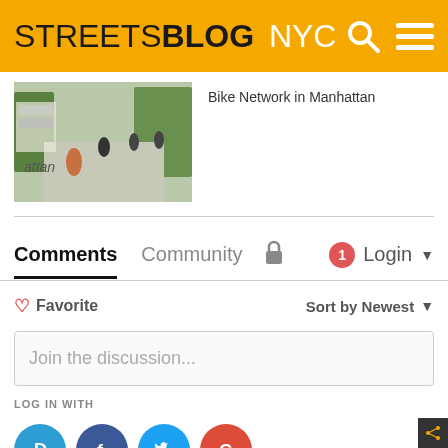STREETSBLOG NYC
Bike Network in Manhattan
Comments  Community  Login
♡ Favorite    Sort by Newest
Join the discussion...
LOG IN WITH
OR SIGN UP WITH DISQUS